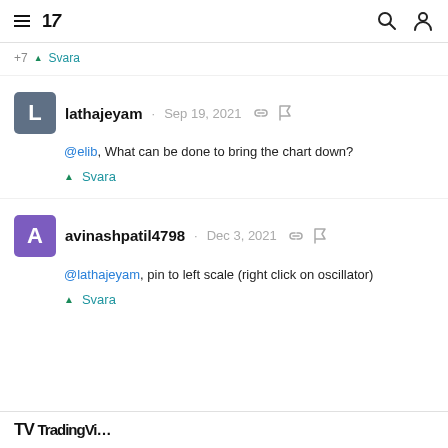TradingView
+7 ▲ Svara
lathajeyam · Sep 19, 2021
@elib, What can be done to bring the chart down?
▲ Svara
avinashpatil4798 · Dec 3, 2021
@lathajeyam, pin to left scale (right click on oscillator)
▲ Svara
TV TradingVi...